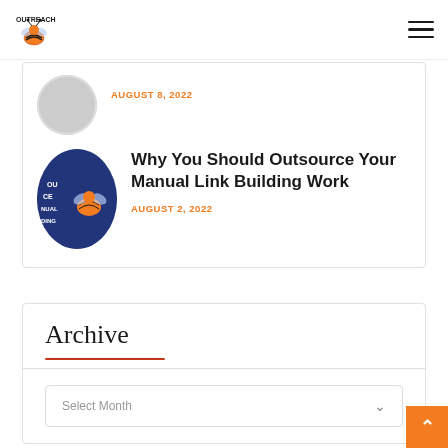Outreach Bee
AUGUST 8, 2022
Why You Should Outsource Your Manual Link Building Work
AUGUST 2, 2022
Archive
Select Month